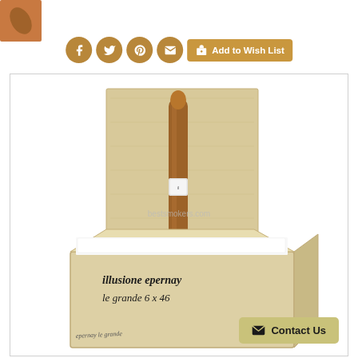[Figure (other): Social media share icons (Facebook, Twitter, Pinterest, Email) and Add to Wish List button in gold/brown color scheme]
[Figure (photo): Product photo of Illusione Epernay Le Grande 6x46 cigar resting against an open pale wood cigar box labeled 'illusione epernay le grande 6 x 46'. Watermark reads 'bestsmokers.com'.]
Contact Us